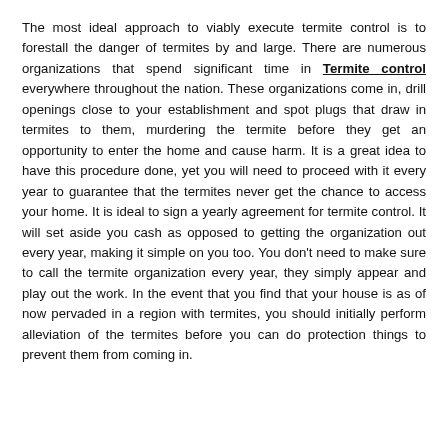The most ideal approach to viably execute termite control is to forestall the danger of termites by and large. There are numerous organizations that spend significant time in Termite control everywhere throughout the nation. These organizations come in, drill openings close to your establishment and spot plugs that draw in termites to them, murdering the termite before they get an opportunity to enter the home and cause harm. It is a great idea to have this procedure done, yet you will need to proceed with it every year to guarantee that the termites never get the chance to access your home. It is ideal to sign a yearly agreement for termite control. It will set aside you cash as opposed to getting the organization out every year, making it simple on you too. You don't need to make sure to call the termite organization every year, they simply appear and play out the work. In the event that you find that your house is as of now pervaded in a region with termites, you should initially perform alleviation of the termites before you can do protection things to prevent them from coming in.